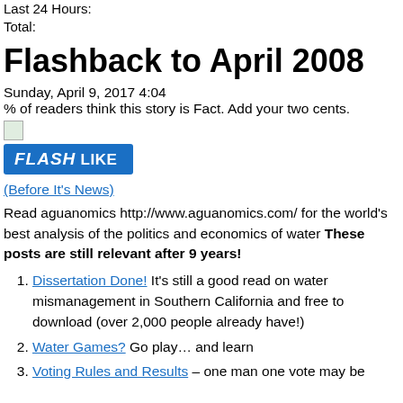Last 24 Hours:
Total:
Flashback to April 2008
Sunday, April 9, 2017 4:04
% of readers think this story is Fact. Add your two cents.
[Figure (other): Small image icon followed by a blue FLASH LIKE button]
(Before It's News)
Read aguanomics http://www.aguanomics.com/ for the world's best analysis of the politics and economics of water These posts are still relevant after 9 years!
Dissertation Done! It's still a good read on water mismanagement in Southern California and free to download (over 2,000 people already have!)
Water Games? Go play… and learn
Voting Rules and Results – one man one vote may be